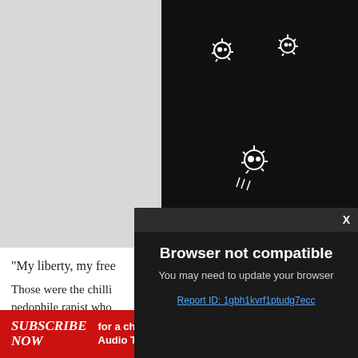[Figure (photo): Background split image: left side light grey/white, right side black with white sun/face doodle icons scattered on fabric]
“My liberty, my free…
Those were the chilli… pedophile rapist who…
[Figure (screenshot): Browser not compatible modal popup on dark background with close X button. Text: 'Browser not compatible', 'You may need to update your browser', link 'Report ID: 1gbh1kvrf1ptudg7ecc']
SUBSCRIBE NOW for a chance to WIN 1 of 2 Audio Technica turntables VALUED AT $329